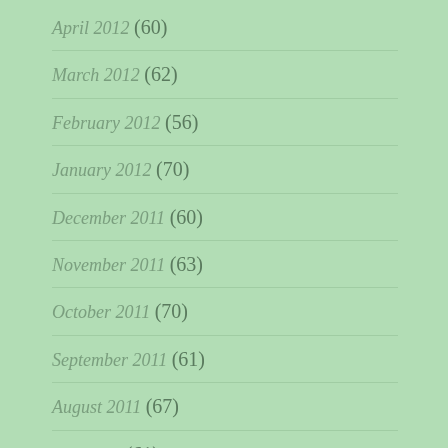April 2012 (60)
March 2012 (62)
February 2012 (56)
January 2012 (70)
December 2011 (60)
November 2011 (63)
October 2011 (70)
September 2011 (61)
August 2011 (67)
July 2011 (61)